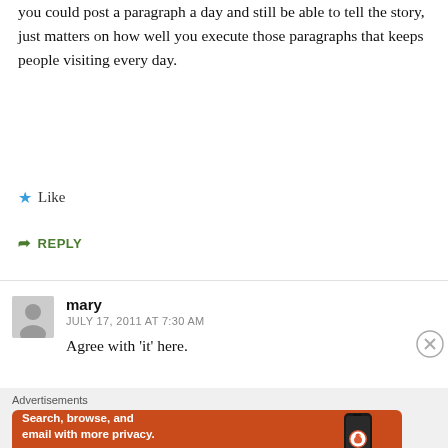you could post a paragraph a day and still be able to tell the story, just matters on how well you execute those paragraphs that keeps people visiting every day.
Like
REPLY
mary
JULY 17, 2011 AT 7:30 AM
Agree with 'it' here.
[Figure (infographic): DuckDuckGo advertisement banner with orange background. Text: 'Search, browse, and email with more privacy. All in One Free App'. Shows a smartphone image with DuckDuckGo logo.]